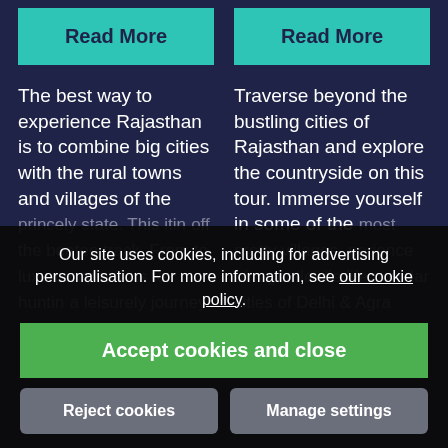Read More
Read More
The best way to experience Rajasthan is to combine big cities with the rural towns and villages of the princely state. This itin... off the beaten track. From ... to luxu... camps, forts to huntin... a leisurely journey
Traverse beyond the bustling cities of Rajasthan and explore the countryside on this tour. Immerse yourself in some of the most pretty villages, ...perience of a gentle ...dle life... popular cities of Delhi & Agra towards
Our site uses cookies, including for advertising personalisation. For more information, see our cookie policy.
Accept cookies and close
Reject cookies
Manage settings